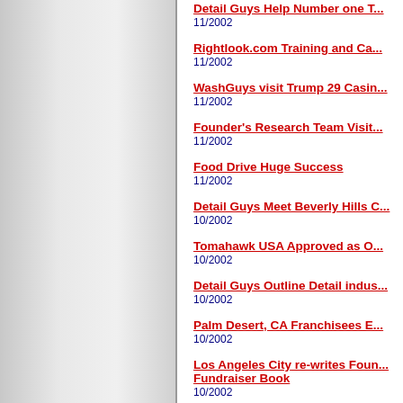Detail Guys Help Number one T...
11/2002
Rightlook.com Training and Ca...
11/2002
WashGuys visit Trump 29 Casin...
11/2002
Founder's Research Team Visit...
11/2002
Food Drive Huge Success
11/2002
Detail Guys Meet Beverly Hills C...
10/2002
Tomahawk USA Approved as O...
10/2002
Detail Guys Outline Detail indus...
10/2002
Palm Desert, CA Franchisees E...
10/2002
Los Angeles City re-writes Foun... Fundraiser Book
10/2002
Detail Guys Visit Lexus of North... Mitsubishi... and the Motor...